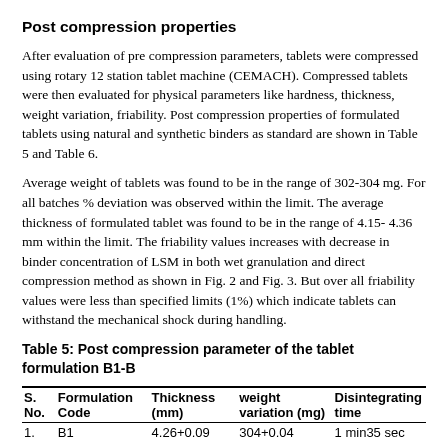Post compression properties
After evaluation of pre compression parameters, tablets were compressed using rotary 12 station tablet machine (CEMACH). Compressed tablets were then evaluated for physical parameters like hardness, thickness, weight variation, friability. Post compression properties of formulated tablets using natural and synthetic binders as standard are shown in Table 5 and Table 6.
Average weight of tablets was found to be in the range of 302-304 mg. For all batches % deviation was observed within the limit. The average thickness of formulated tablet was found to be in the range of 4.15- 4.36 mm within the limit. The friability values increases with decrease in binder concentration of LSM in both wet granulation and direct compression method as shown in Fig. 2 and Fig. 3. But over all friability values were less than specified limits (1%) which indicate tablets can withstand the mechanical shock during handling.
Table 5: Post compression parameter of the tablet formulation B1-B
| S. No. | Formulation Code | Thickness (mm) | weight variation (mg) | Disintegrating time |
| --- | --- | --- | --- | --- |
| 1. | B1 | 4.26+0.09 | 304+0.04 | 1 min35 sec |